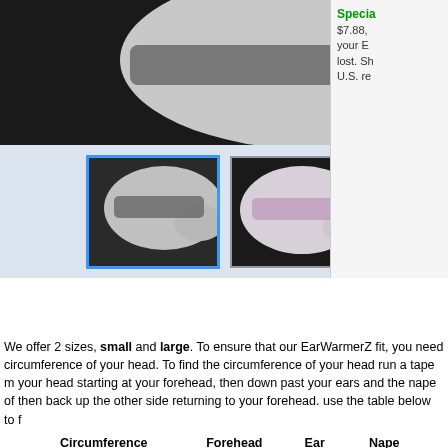[Figure (photo): Top portion: dark background mannequin head wearing ear warmer, side profile view. Below: light blue thumbnail strip with two small product photos — selected one on left with blue border showing gray/white ear warmer, second showing pink/lavender ear warmer on mannequin.]
We offer 2 sizes, small and large. To ensure that our EarWarmerZ fit, you need circumference of your head. To find the circumference of your head run a tape m your head starting at your forehead, then down past your ears and the nape of then back up the other side returning to your forehead. use the table below to f
|  | Circumference | Forehead | Ear | Nape |
| --- | --- | --- | --- | --- |
| Small | 19.5-23 in. | 2.25 in. | 4.5 in. | 3.25 in. |
| Large | 21-25 in. | 2.25 in. | 4.5 in. | 3.5 in. |
Be sure to specify which size you want when ordering your EarWarmerZ.
Lifetime Warranty:
(optional) Any EarWarmerZ purchased from this web site is eligible for this war you if your cherished EarWarmerZ is lost, stolen, damaged, given away or not t allows you to choose another comparably priced or less EarWarmerZ from this free. It includes the one-time replacement of your EarWarmerZ and shipping & is optional, costs $7.88, and is only available to residents of the United States.